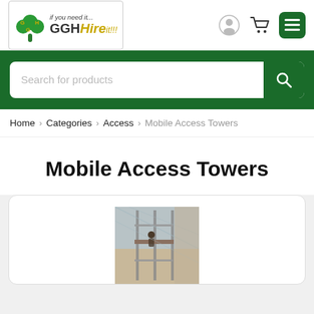[Figure (logo): GGH Hire it!!! logo with shamrock icon and tagline 'if you need it...']
[Figure (screenshot): Website search bar with placeholder 'Search for products' and green search button]
Home > Categories > Access > Mobile Access Towers
Mobile Access Towers
[Figure (photo): Photo of a mobile access tower/scaffolding inside a building with a worker on it]